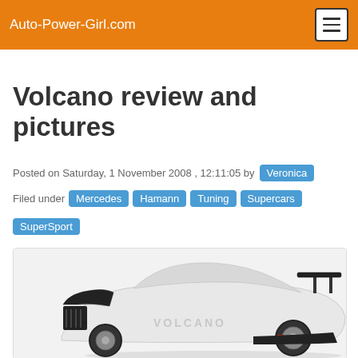Auto-Power-Girl.com
Volcano review and pictures
Posted on Saturday, 1 November 2008 , 12:11:05 by Veronica
Filed under Mercedes Hamann Tuning Supercars SuperSport
[Figure (photo): White Hamann Volcano supercar based on Mercedes, rear three-quarter view showing large rear wing and 'VOLCANO' text on side, photographed on white background]